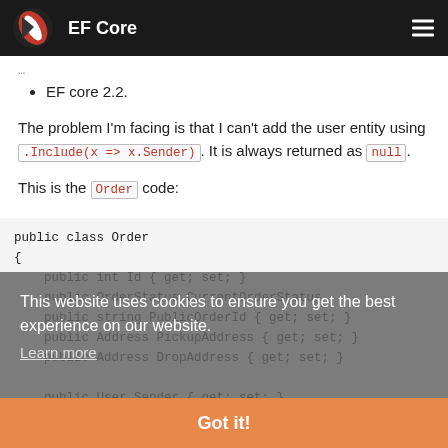EF Core
EF core 2.2.
The problem I'm facing is that I can't add the user entity using .Include(x => x.Sender). It is always returned as null.
This is the Order code:
[Figure (screenshot): Code block showing public class Order with properties including PublicOrderId, CurrentOrderStatus, PickupAddress, DropAddress, User Sender, and more.]
This website uses cookies to ensure you get the best experience on our website. Learn more  Got it!